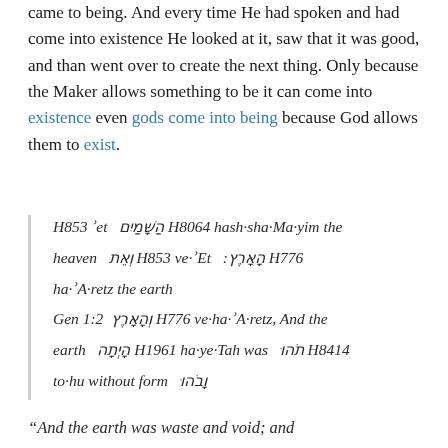came to being. And every time He had spoken and had come into existence He looked at it, saw that it was good, and than went over to create the next thing. Only because the Maker allows something to be it can come into existence even gods come into being because God allows them to exist.
H853 'et  הַשָּׁמַיִם H8064 hash·sha·Ma·yim the heaven  וְאֵת H853 ve·'Et  :הָאָרֶץ H776 ha·'A·retz the earth
Gen 1:2 וְהָאָרֶץ H776 ve·ha·'A·retz, And the earth  הָיְתָה H1961 ha·ye·Tah was  תֹהוּ H8414 to·hu without form  וָבֹהוּ
"And the earth was waste and void; and